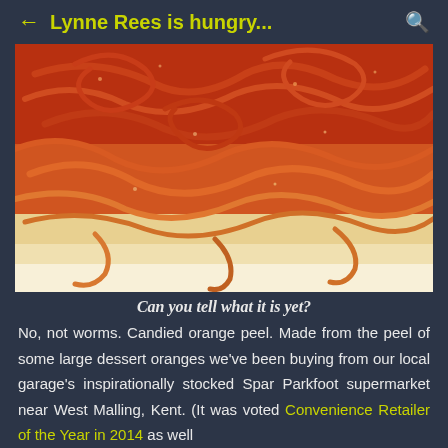← Lynne Rees is hungry... 🔍
[Figure (photo): Close-up photo of candied orange peel strips on a white plate, resembling worms or noodles, with orange and yellow coloring dusted with sugar]
Can you tell what it is yet?
No, not worms. Candied orange peel. Made from the peel of some large dessert oranges we've been buying from our local garage's inspirationally stocked Spar Parkfoot supermarket near West Malling, Kent. (It was voted Convenience Retailer of the Year in 2014 as well